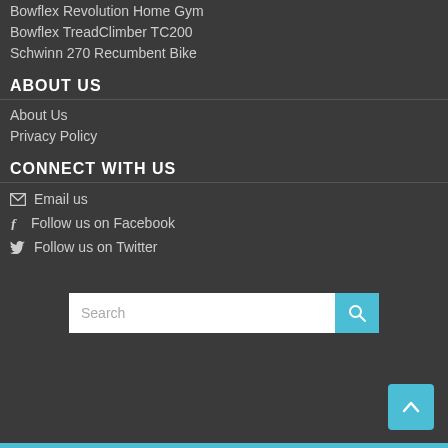Bowflex Revolution Home Gym
Bowflex TreadClimber TC200
Schwinn 270 Recumbent Bike
ABOUT US
About Us
Privacy Policy
CONNECT WITH US
Email us
Follow us on Facebook
Follow us on Twitter